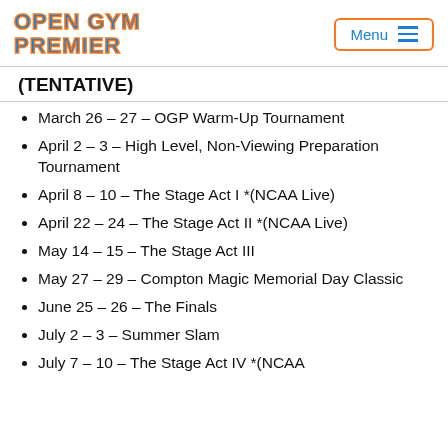OPEN GYM PREMIER | Menu
(TENTATIVE)
March 26 – 27 – OGP Warm-Up Tournament
April 2 – 3 – High Level, Non-Viewing Preparation Tournament
April 8 – 10 – The Stage Act I *(NCAA Live)
April 22 – 24 – The Stage Act II *(NCAA Live)
May 14 – 15 – The Stage Act III
May 27 – 29 – Compton Magic Memorial Day Classic
June 25 – 26 – The Finals
July 2 – 3 – Summer Slam
July 7 – 10 – The Stage Act IV *(NCAA